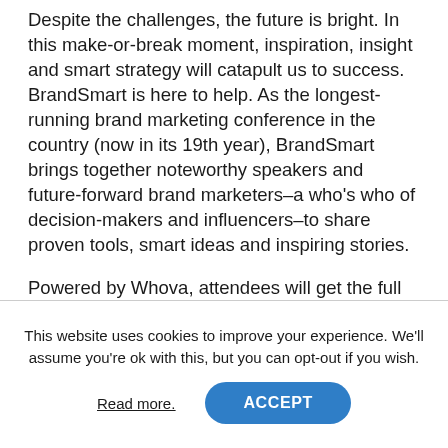Despite the challenges, the future is bright. In this make-or-break moment, inspiration, insight and smart strategy will catapult us to success. BrandSmart is here to help. As the longest-running brand marketing conference in the country (now in its 19th year), BrandSmart brings together noteworthy speakers and future-forward brand marketers–a who's who of decision-makers and influencers–to share proven tools, smart ideas and inspiring stories.
Powered by Whova, attendees will get the full virtual conference experience–with many
This website uses cookies to improve your experience. We'll assume you're ok with this, but you can opt-out if you wish.
Read more.   ACCEPT